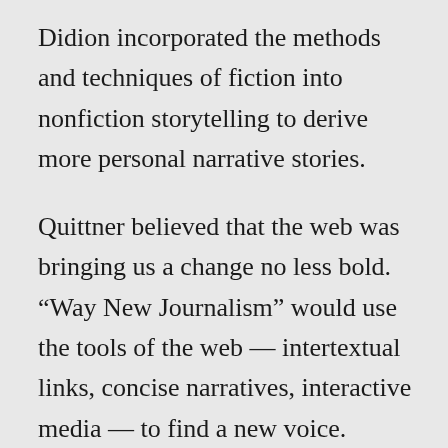Didion incorporated the methods and techniques of fiction into nonfiction storytelling to derive more personal narrative stories.
Quittner believed that the web was bringing us a change no less bold. “Way New Journalism” would use the tools of the web — intertextual links, concise narratives, interactive media — to find a new voice. Quittner believed that the voice that writers used on the web would become more authentic and direct. “Voice becomes more intimate and immediate online. You expect your reporter (or your